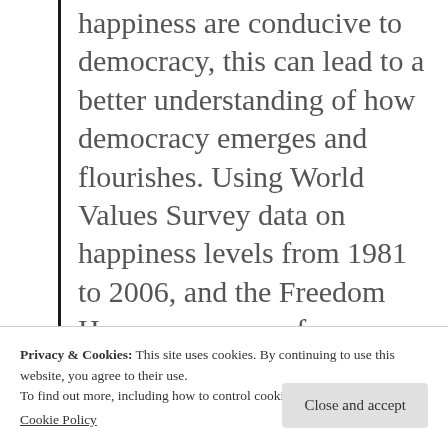happiness are conducive to democracy, this can lead to a better understanding of how democracy emerges and flourishes. Using World Values Survey data on happiness levels from 1981 to 2006, and the Freedom House measures of democracy levels from 1972 to 2005, this paper analyzes the relationships between happiness and democracy in order to determine what is
Privacy & Cookies: This site uses cookies. By continuing to use this website, you agree to their use.
To find out more, including how to control cookies, see here:
Cookie Policy
Close and accept